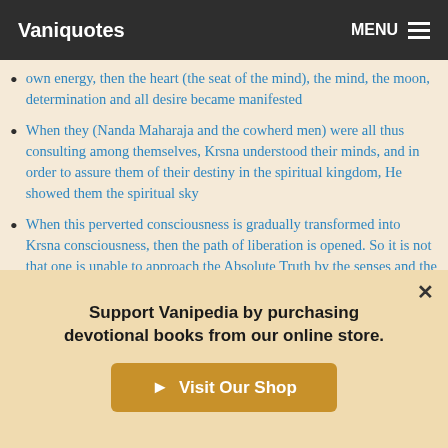Vaniquotes | MENU
own energy, then the heart (the seat of the mind), the mind, the moon, determination and all desire became manifested
When they (Nanda Maharaja and the cowherd men) were all thus consulting among themselves, Krsna understood their minds, and in order to assure them of their destiny in the spiritual kingdom, He showed them the spiritual sky
When this perverted consciousness is gradually transformed into Krsna consciousness, then the path of liberation is opened. So it is not that one is unable to approach the Absolute Truth by the senses and the mind
When this supernatural energy is reposed in us, all our
Support Vanipedia by purchasing devotional books from our online store.
Visit Our Shop